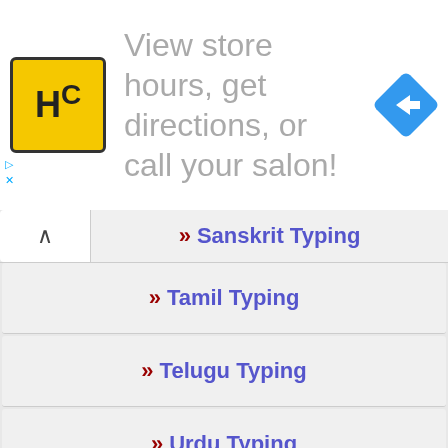[Figure (screenshot): Advertisement banner for a hair salon locator service with HC logo, text 'View store hours, get directions, or call your salon!' and a blue navigation diamond icon]
» Sanskrit Typing
» Tamil Typing
» Telugu Typing
» Urdu Typing
» Arabic Typing
» Nepali Typing